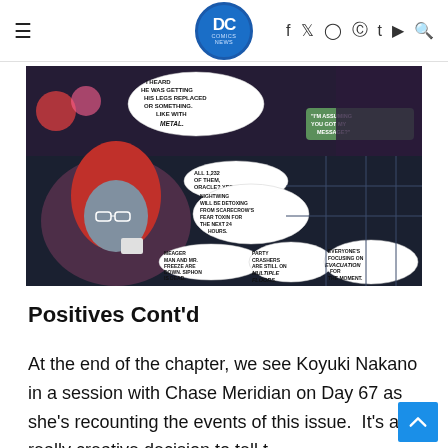DC Comics News — navigation bar with hamburger menu, DC Comics News logo, social icons (f, twitter, instagram, pinterest, t, youtube, search)
[Figure (illustration): Comic book panel showing Oracle (Barbara Gordon) with red hair and glasses holding a cup, with speech bubbles: 'I HEARD HE WAS GETTING HIS LEGS REPLACED OR SOMETHING. LIKE WITH METAL.' / 'I'M ASSUMING YOU GOT MY MESSAGE?' / 'ALL 1,232 OF THEM, ORACLE? YES.' / 'NIGHTWING WILL BE DETOXING FROM SCARECROW'S FEAR TOXIN FOR THE NEXT 24 HOURS.' / 'MEAGER MAN AND MR. FREEZE ARE DOWN. SIPHON IS DEAD.' / 'PARTY CRASHERS ARE STILL ON MULTIPLE FLOORS.' / 'EVERYONE'S FOCUSING ON EVACUATION FOR THE MOMENT.']
Positives Cont'd
At the end of the chapter, we see Koyuki Nakano in a session with Chase Meridian on Day 67 as she's recounting the events of this issue.  It's a really creative decision to tell t